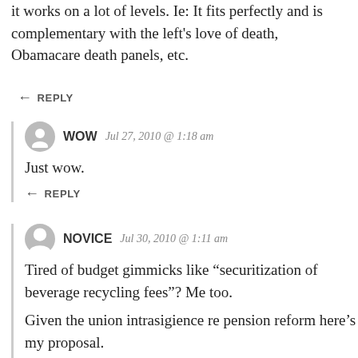it works on a lot of levels.  Ie:  It fits perfectly and is complementary with the left’s love of death, Obamacare death panels, etc.
REPLY
WOW   Jul 27, 2010 @ 1:18 am
Just wow.
REPLY
NOVICE   Jul 30, 2010 @ 1:11 am
Tired of budget gimmicks like “securitization of beverage recycling fees”?  Me too.
Given the union intrasigience re pension reform here’s my proposal.
– All *new government workers must accept defined contribution pensions like 401ks.
– Convert the rotunda into a MadMax thunderdome.